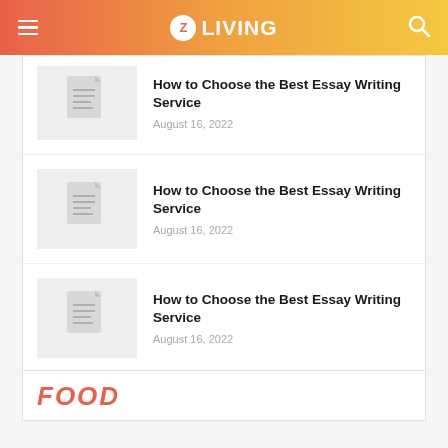Z Living
How to Choose the Best Essay Writing Service
August 16, 2022
How to Choose the Best Essay Writing Service
August 16, 2022
How to Choose the Best Essay Writing Service
August 16, 2022
FOOD